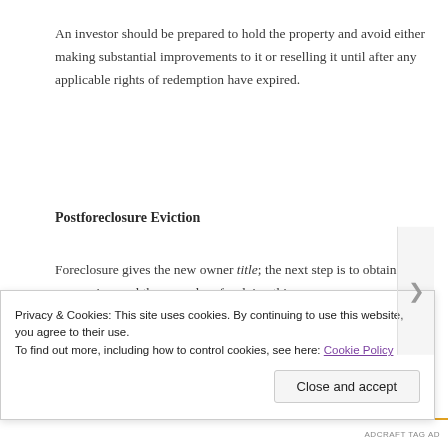An investor should be prepared to hold the property and avoid either making substantial improvements to it or reselling it until after any applicable rights of redemption have expired.
Postforeclosure Eviction
Foreclosure gives the new owner title; the next step is to obtain possession, and the procedure for doing this is called the eviction process (also sometimes called...
Privacy & Cookies: This site uses cookies. By continuing to use this website, you agree to their use.
To find out more, including how to control cookies, see here: Cookie Policy
Close and accept